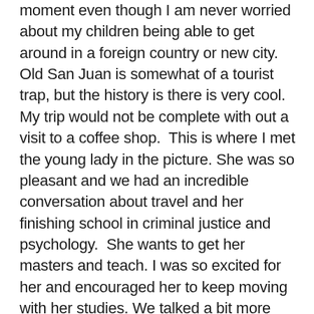moment even though I am never worried about my children being able to get around in a foreign country or new city. Old San Juan is somewhat of a tourist trap, but the history is there is very cool.  My trip would not be complete with out a visit to a coffee shop.  This is where I met the young lady in the picture. She was so pleasant and we had an incredible conversation about travel and her finishing school in criminal justice and psychology.  She wants to get her masters and teach. I was so excited for her and encouraged her to keep moving with her studies. We talked a bit more about travel and she asked me if I saw the documentary called “with out maps”? She told me a little about it and said that I reminded her of the guy in the documentary and proceeded to show me a picture of the front cover of the film on her phone. I made sure to put it in my notes so I wouldn’t forget the name of it. I thanked her for the time we spent together and wished her luck on getting her masters. We walked down to Verde mesa and as we walked in I felt like I was at home. It made my heart